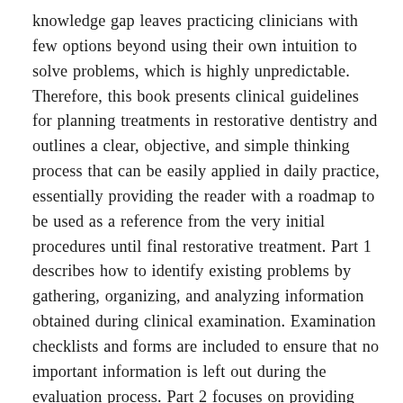knowledge gap leaves practicing clinicians with few options beyond using their own intuition to solve problems, which is highly unpredictable. Therefore, this book presents clinical guidelines for planning treatments in restorative dentistry and outlines a clear, objective, and simple thinking process that can be easily applied in daily practice, essentially providing the reader with a roadmap to be used as a reference from the very initial procedures until final restorative treatment. Part 1 describes how to identify existing problems by gathering, organizing, and analyzing information obtained during clinical examination. Examination checklists and forms are included to ensure that no important information is left out during the evaluation process. Part 2 focuses on providing solutions to identified problems via restorative treatment options, highlighting the use of implant-supported restorations in the treatment of both partially and completely edentulous arches. Part 3 details how to present treatment options to the patient and includes aspects related to patient education, treatment